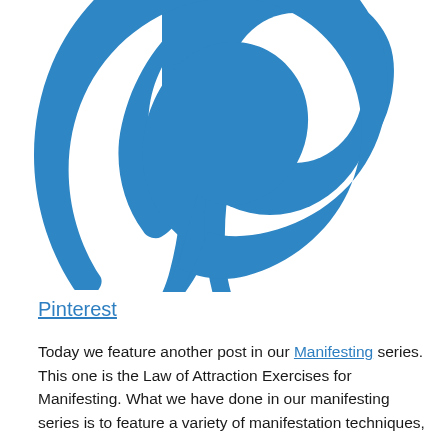[Figure (logo): Pinterest logo — large blue stylized lowercase 'p' with a calligraphic curl, cropped at top, on white background]
Pinterest
Today we feature another post in our Manifesting series. This one is the Law of Attraction Exercises for Manifesting. What we have done in our manifesting series is to feature a variety of manifestation techniques, showing off the techniques. The main of